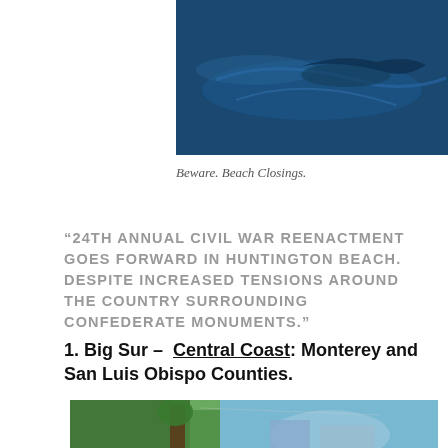[Figure (photo): Underwater photo showing what appears to be a shark or large marine animal in dark blue water]
Beware. Beach Closings.
“24TH ANNUAL CIVIL WAR REENACTMENT GOES FORWARD IN HUNTINGTON BEACH. DESPITE INCREASED TENSIONS AROUND THE COUNTRY SURROUNDING CONFEDERATE MONUMENTS.”
1. Big Sur – Central Coast: Monterey and San Luis Obispo Counties.
[Figure (photo): Outdoor photo of a restaurant or patio area with trees, string lights, blue shade umbrellas, and hills in the background under a blue sky]